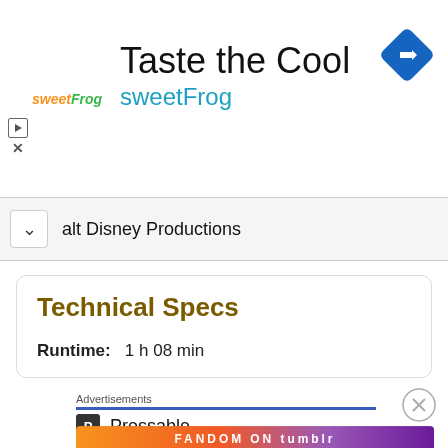[Figure (infographic): sweetFrog advertisement banner with logo, 'Taste the Cool' heading, 'sweetFrog' brand name in teal, and a blue navigation arrow icon]
Walt Disney Productions
Technical Specs
Runtime:  1 h 08 min
Advertisements
[Figure (logo): Pressable logo with letter P icon and text 'Pressable']
Advertisements
[Figure (infographic): Fandom on Tumblr advertisement banner with colorful gradient background]